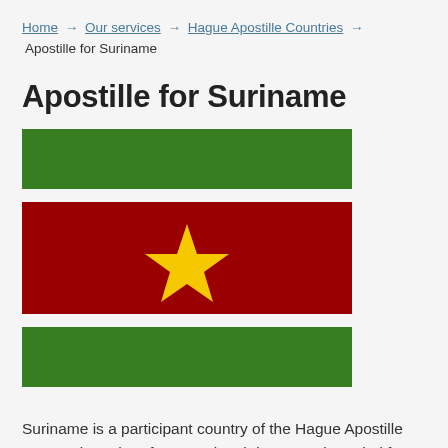Home → Our services → Hague Apostille Countries → Apostille for Suriname
Apostille for Suriname
[Figure (illustration): Flag of Suriname: three horizontal stripes (green, white, red with central yellow star, white, green)]
Suriname is a participant country of the Hague Apostille Convention. Therefore, any legal document intended for official use in Suriname requires an Apostille from the Secretary of State.